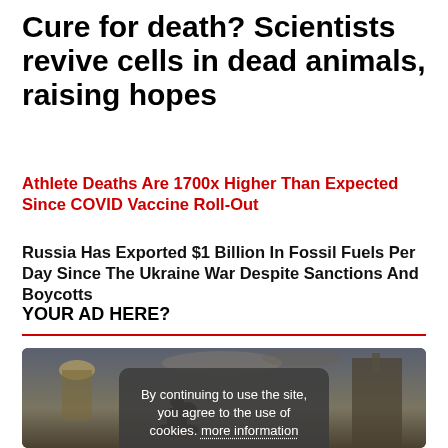Cure for death? Scientists revive cells in dead animals, raising hopes
Athlete Deaths Are 1700x Higher Than Expected Since COVID Vaccine Roll-Out
Russia Has Exported $1 Billion In Fossil Fuels Per Day Since The Ukraine War Despite Sanctions And Boycotts
YOUR AD HERE?
[Figure (photo): Fantasy/dark artistic illustration of a horseman silhouette in front of a dramatic skyline with ornate buildings and storm clouds, with a cookie consent overlay dialog in the center reading 'By continuing to use the site, you agree to the use of cookies. more information' and an Accept button.]